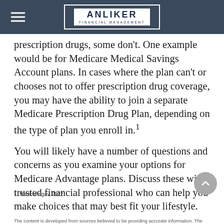ANLIKER FINANCIAL MANAGEMENT
prescription drugs, some don't. One example would be for Medicare Medical Savings Account plans. In cases where the plan can't or chooses not to offer prescription drug coverage, you may have the ability to join a separate Medicare Prescription Drug Plan, depending on the type of plan you enroll in.1
You will likely have a number of questions and concerns as you examine your options for Medicare Advantage plans. Discuss these with a trusted financial professional who can help you make choices that may best fit your lifestyle.
1. Medicare.gov, 2022
The content is developed from sources believed to be providing accurate information. The